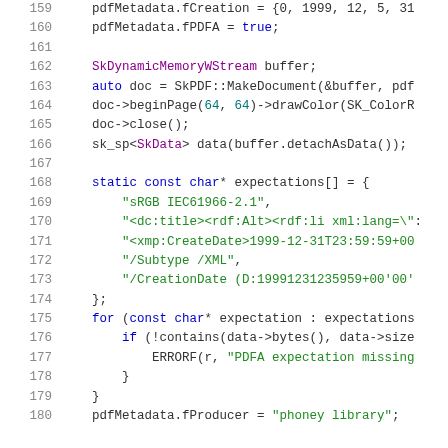[Figure (screenshot): Source code listing showing C++ code with syntax highlighting. Line numbers 159-180 are shown. The code involves PDF metadata operations, SkDynamicMemoryWStream, SkPDF::MakeDocument, beginPage, drawColor, close, detachAsData, static const char* expectations array with string literals, and a for loop with contains check and ERRORF call.]